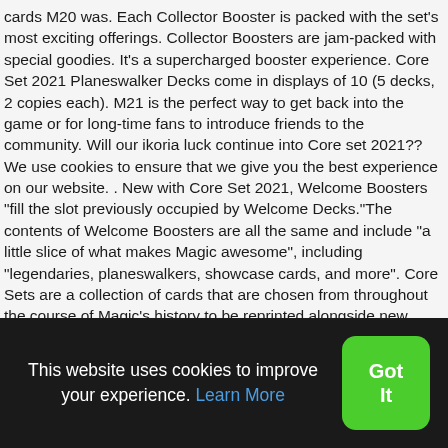cards M20 was. Each Collector Booster is packed with the set's most exciting offerings. Collector Boosters are jam-packed with special goodies. It's a supercharged booster experience. Core Set 2021 Planeswalker Decks come in displays of 10 (5 decks, 2 copies each). M21 is the perfect way to get back into the game or for long-time fans to introduce friends to the community. Will our ikoria luck continue into Core set 2021?? We use cookies to ensure that we give you the best experience on our website. . New with Core Set 2021, Welcome Boosters "fill the slot previously occupied by Welcome Decks."The contents of Welcome Boosters are all the same and include "a little slice of what makes Magic awesome", including "legendaries, planeswalkers, showcase cards, and more". Core Sets are a collection of cards that are chosen from throughout the course of Magic's history to be reprinted alongside new cards that are added to game. You
This website uses cookies to improve your experience. Learn More
Got It